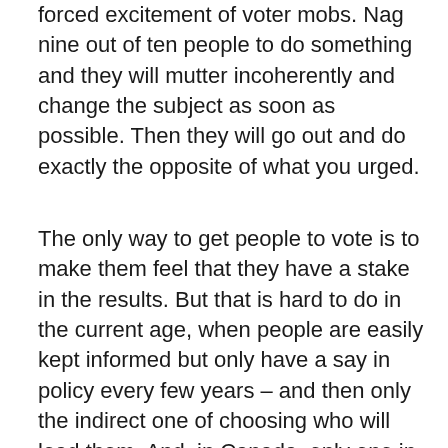forced excitement of voter mobs. Nag nine out of ten people to do something and they will mutter incoherently and change the subject as soon as possible. Then they will go out and do exactly the opposite of what you urged.
The only way to get people to vote is to make them feel that they have a stake in the results. But that is hard to do in the current age, when people are easily kept informed but only have a say in policy every few years – and then only the indirect one of choosing who will lead them. And, in Canada, only one in 308 ridings actually votes for the Prime Minister, and only about twenty-five ridings vote for cabinet ministers (although, often, the votes don't know that they have voted for a cabinet minister until several months after the election). The other ridings vote for back-benchers whose main job is to stand behind their leaders and look supportive. This is such a low level of